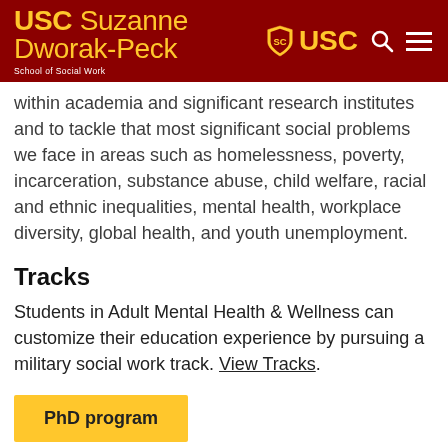USC Suzanne Dworak-Peck School of Social Work
within academia and significant research institutes and to tackle that most significant social problems we face in areas such as homelessness, poverty, incarceration, substance abuse, child welfare, racial and ethnic inequalities, mental health, workplace diversity, global health, and youth unemployment.
Tracks
Students in Adult Mental Health & Wellness can customize their education experience by pursuing a military social work track. View Tracks.
PhD program